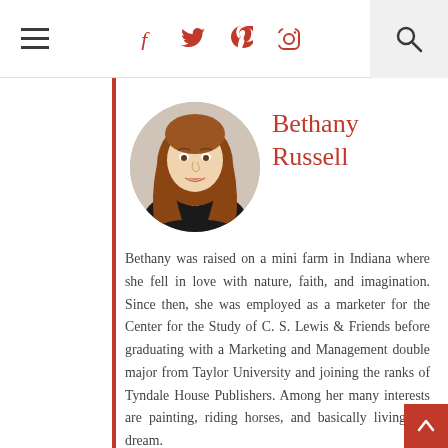Navigation bar with hamburger menu, social icons (f, twitter, pinterest, instagram), and search icon
[Figure (photo): Circular portrait photo of Bethany Russell, a young woman with long auburn hair, smiling, wearing a black top]
Bethany Russell
Bethany was raised on a mini farm in Indiana where she fell in love with nature, faith, and imagination. Since then, she was employed as a marketer for the Center for the Study of C. S. Lewis & Friends before graduating with a Marketing and Management double major from Taylor University and joining the ranks of Tyndale House Publishers. Among her many interests are painting, riding horses, and basically living the dream.